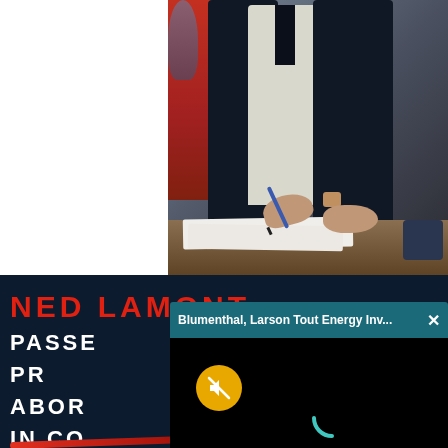[Figure (photo): Screenshot of a video showing a person in a dark suit signing a document at a table, with another person in red visible to the left. Below is a dark blue background with text: NED LAMONT / PASSE[D] / PR[OTECTION] / ABOR[TION] / IN CO[NNECTICUT]. An overlay notification popup reads 'Blumenthal, Larson Tout Energy Inv...' with a close button. A yellow muted button and a black video area with a loading spinner are also visible.]